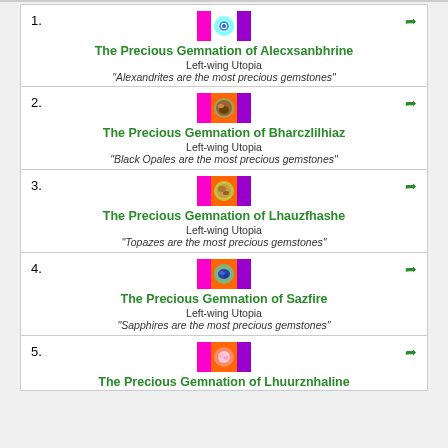1. The Precious Gemnation of Alecxsanbhrine
Left-wing Utopia
"Alexandrites are the most precious gemstones"
2. The Precious Gemnation of Bharczlilhiaz
Left-wing Utopia
"Black Opales are the most precious gemstones"
3. The Precious Gemnation of Lhauzfhashe
Left-wing Utopia
"Topazes are the most precious gemstones"
4. The Precious Gemnation of Sazfire
Left-wing Utopia
"Sapphires are the most precious gemstones"
5. The Precious Gemnation of Lhuurznhaline